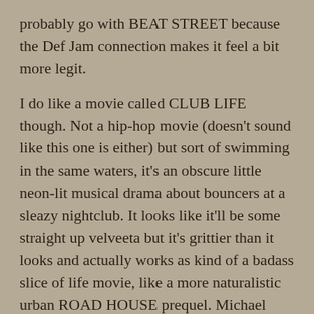probably go with BEAT STREET because the Def Jam connection makes it feel a bit more legit.
I do like a movie called CLUB LIFE though. Not a hip-hop movie (doesn't sound like this one is either) but sort of swimming in the same waters, it's an obscure little neon-lit musical drama about bouncers at a sleazy nightclub. It looks like it'll be some straight up velveeta but it's grittier than it looks and actually works as kind of a badass slice of life movie, like a more naturalistic urban ROAD HOUSE prequel. Michael Parks plays the Wade Garrett of this particular Double Douche, and he plays the hell out of it as you would probably expect and even gets a cool fight scene. It's probably the second or third best bouncer movie